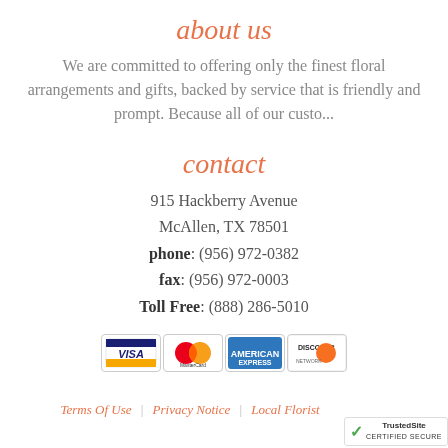about us
We are committed to offering only the finest floral arrangements and gifts, backed by service that is friendly and prompt. Because all of our custo...
contact
915 Hackberry Avenue
McAllen, TX 78501
phone: (956) 972-0382
fax: (956) 972-0003
Toll Free: (888) 286-5010
[Figure (other): Payment method icons: Visa, MasterCard, American Express, Discover]
Terms Of Use | Privacy Notice | Local Florist
[Figure (logo): TrustedSite Certified Secure badge]